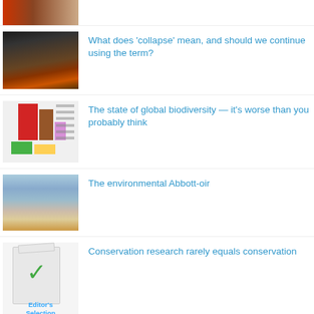[Figure (photo): Partial thumbnail at top, cut off]
What does 'collapse' mean, and should we continue using the term?
The state of global biodiversity — it's worse than you probably think
The environmental Abbott-oir
Conservation research rarely equals conservation
The extinction vortex